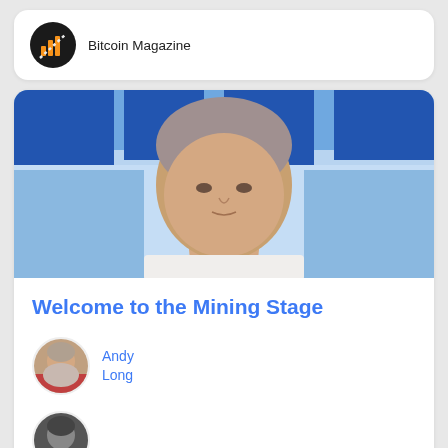Bitcoin Magazine
[Figure (photo): Video thumbnail showing a man with light hair in a white shirt against a blue background with geometric shapes]
Welcome to the Mining Stage
Andy Long
[Figure (photo): Partial circular avatar photo at the bottom of the page, partially cut off]